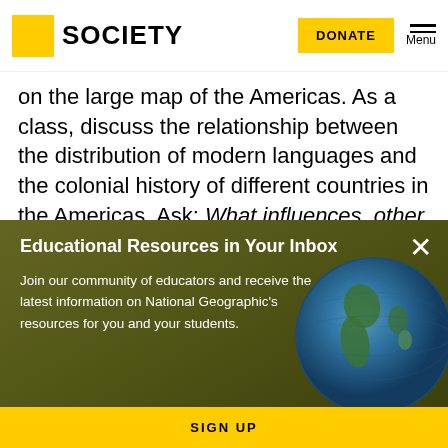SOCIETY | DONATE | Menu
on the large map of the Americas. As a class, discuss the relationship between the distribution of modern languages and the colonial history of different countries in the Americas. Ask: What influences, other than language, did colonial powers have on the culture of each country?  What
[Figure (infographic): Educational Resources popup overlay with dark olive/green gradient background, globe image on right side, close button (X), title 'Educational Resources in Your Inbox', body text about joining community of educators, and yellow SIGN UP button.]
Educational Resources in Your Inbox
Join our community of educators and receive the latest information on National Geographic's resources for you and your students.
SIGN UP